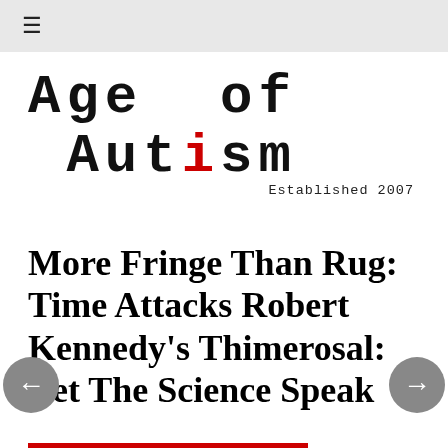≡
[Figure (logo): Age of Autism logo in typewriter-style font with red 'i' in Autism, and 'Established 2007' subtitle]
More Fringe Than Rug: Time Attacks Robert Kennedy's Thimerosal: Let The Science Speak